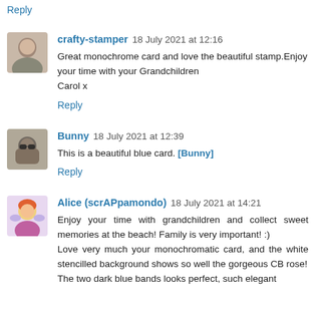Reply
crafty-stamper 18 July 2021 at 12:16
Great monochrome card and love the beautiful stamp.Enjoy your time with your Grandchildren
Carol x
Reply
Bunny 18 July 2021 at 12:39
This is a beautiful blue card. [Bunny]
Reply
Alice (scrAPpamondo) 18 July 2021 at 14:21
Enjoy your time with grandchildren and collect sweet memories at the beach! Family is very important! :)
Love very much your monochromatic card, and the white stencilled background shows so well the gorgeous CB rose!
The two dark blue bands looks perfect, such elegant